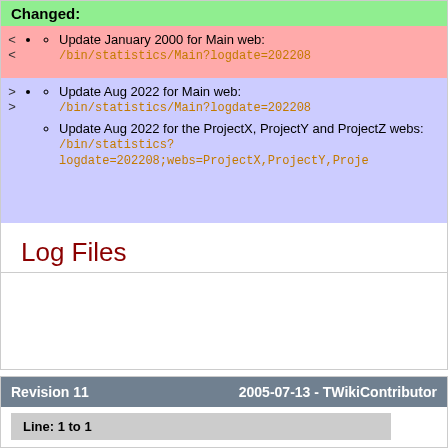Changed:
Update January 2000 for Main web: /bin/statistics/Main?logdate=202208
Update Aug 2022 for Main web: /bin/statistics/Main?logdate=202208
Update Aug 2022 for the ProjectX, ProjectY and ProjectZ webs: /bin/statistics?logdate=202208;webs=ProjectX,ProjectY,Proje
Log Files
Revision 11   2005-07-13 - TWikiContributor
Line: 1 to 1